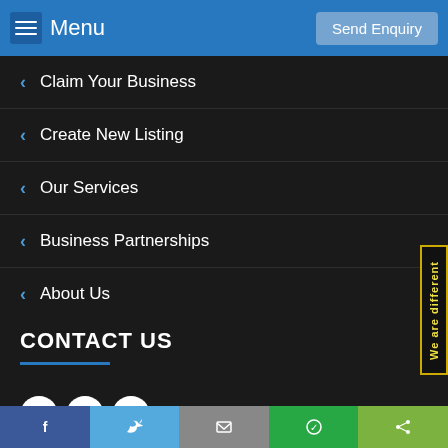Menu | Send Enquiry
Claim Your Business
Create New Listing
Our Services
Business Partnerships
About Us
CONTACT US
Enquiry Form
biz@usaonline.us
[Figure (other): Social media icons: Facebook, Twitter, Instagram]
Facebook | Twitter | Email | WhatsApp | Share
We are different